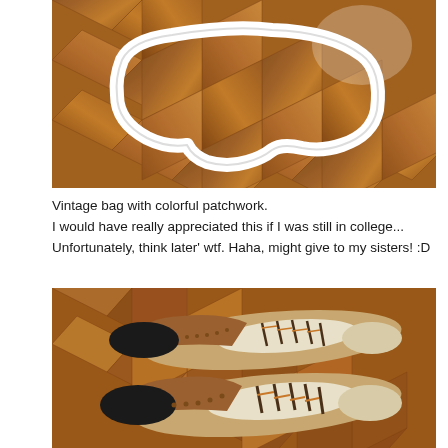[Figure (photo): A white frame or handle of a bag lying on a wooden herringbone floor, photographed from above.]
Vintage bag with colorful patchwork.
I would have really appreciated this if I was still in college... Unfortunately, think later' wtf. Haha, might give to my sisters! :D
[Figure (photo): Two vintage two-tone oxford brogue shoes with brown and white leather uppers, black toe caps, brown laces, and perforated detailing, photographed on a wooden floor.]